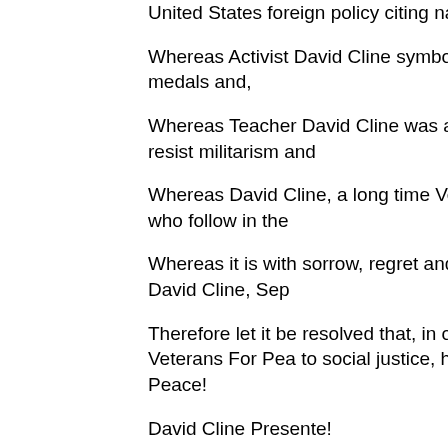United States foreign policy citing national and inherent evil nature; and
Whereas Activist David Cline symbolically confronted by returning military honors and medals and,
Whereas Teacher David Cline was and remains a generation coming of age to resist militarism and
Whereas David Cline, a long time Veteran For Peace hero, and an inspiration to those who follow in the
Whereas it is with sorrow, regret and gratitude, that we mourn the passing of our friend, David Cline, Sep
Therefore let it be resolved that, in order to honor remarkable work and life we as Veterans For Peace to social justice, honor our Brother and Comrade, to Wage Peace!
David Cline Presente!
I have many lapel pins on a canvas bag that I carry with them, the Vietnam Veterans Against the War pin.  He a Veterans For Peace pin which celebrated a quarter century the atrocities, horror and costs of war.  I wear the 25th heart which another Veteran For Peace has given to m